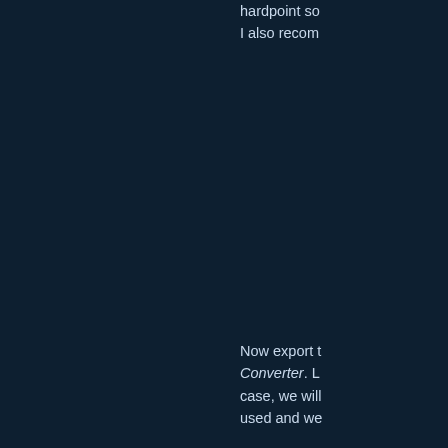hardpoint so I also recom
Now export t Converter. L case, we will used and we
Now we nee .CMP and ta parented to l hardpoints a example the
Time to conv
After taking a Thisis b